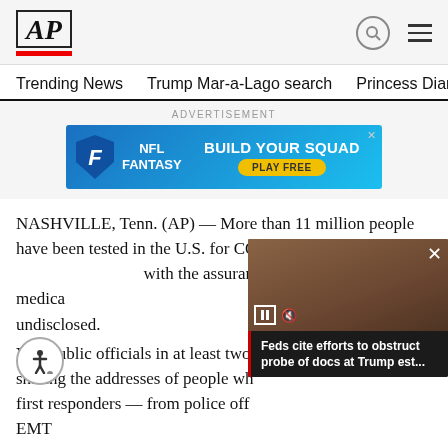AP
Trending News   Trump Mar-a-Lago search   Princess Diana's dea
[Figure (other): NFL Fantasy advertisement banner: BUILD YOUR SQUAD - PLAY FREE]
NASHVILLE, Tenn. (AP) — More than 11 million people have been tested in the U.S. for COVID— assurance that their private medical r n protected and undisclosed.
[Figure (screenshot): Video overlay showing boxes/documents with caption: Feds cite efforts to obstruct probe of docs at Trump est...]
Yes, public officials in at least two— sharing the addresses of people wh first responders — from police off EMT